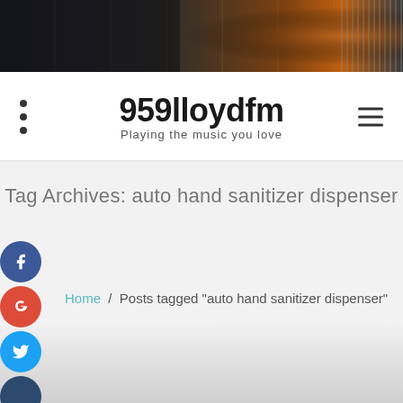[Figure (photo): Dark banner image with microphone and stage lighting, brownish-orange glow on right side]
959lloydfm
Playing the music you love
Tag Archives: auto hand sanitizer dispenser
Home / Posts tagged "auto hand sanitizer dispenser"